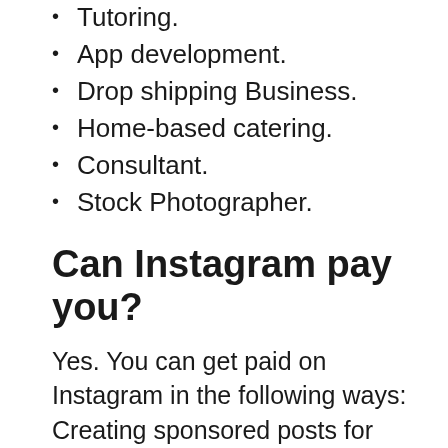Tutoring.
App development.
Drop shipping Business.
Home-based catering.
Consultant.
Stock Photographer.
Can Instagram pay you?
Yes. You can get paid on Instagram in the following ways: Creating sponsored posts for brands that want to get in front of your audience. Becoming an affiliate and making a commission selling other brands’ products.
How can I get a job in Ethiopia?